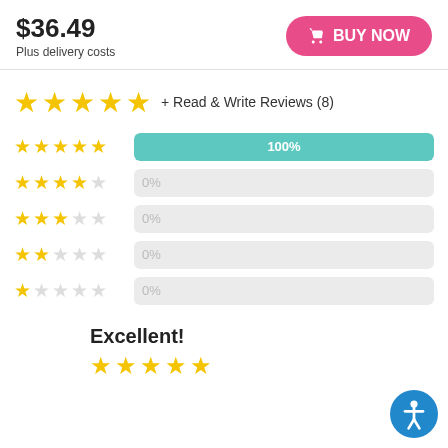$36.49
Plus delivery costs
BUY NOW
[Figure (infographic): Star rating overview: 5 gold stars, then 5 rating rows (5-star 100%, 4-star 0%, 3-star 0%, 2-star 0%, 1-star 0%)]
+ Read & Write Reviews (8)
100%
Excellent!
[Figure (infographic): 5 gold stars for the Excellent review]